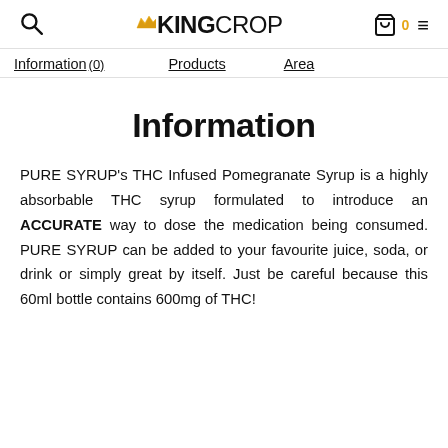KINGCROP [search icon] [cart 0] [menu]
Information (0)   Products   Area
Information
PURE SYRUP's THC Infused Pomegranate Syrup is a highly absorbable THC syrup formulated to introduce an ACCURATE way to dose the medication being consumed. PURE SYRUP can be added to your favourite juice, soda, or drink or simply great by itself. Just be careful because this 60ml bottle contains 600mg of THC!